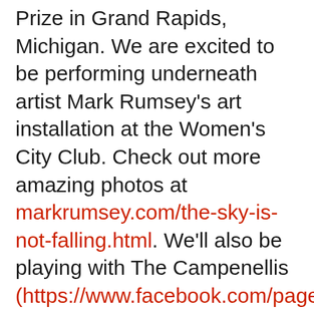Prize in Grand Rapids, Michigan. We are excited to be performing underneath artist Mark Rumsey's art installation at the Women's City Club. Check out more amazing photos at markrumsey.com/the-sky-is-not-falling.html. We'll also be playing with The Campenellis (https://www.facebook.com/pages/The-Campanellis/222107934468004) and Radiator Hospital (https://www.facebook.com/pages/Rad...